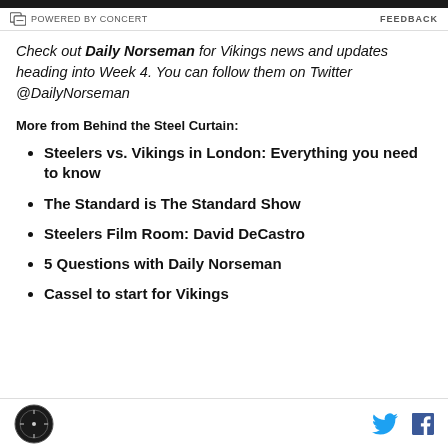POWERED BY CONCERT   FEEDBACK
Check out Daily Norseman for Vikings news and updates heading into Week 4. You can follow them on Twitter @DailyNorseman
More from Behind the Steel Curtain:
Steelers vs. Vikings in London: Everything you need to know
The Standard is The Standard Show
Steelers Film Room: David DeCastro
5 Questions with Daily Norseman
Cassel to start for Vikings